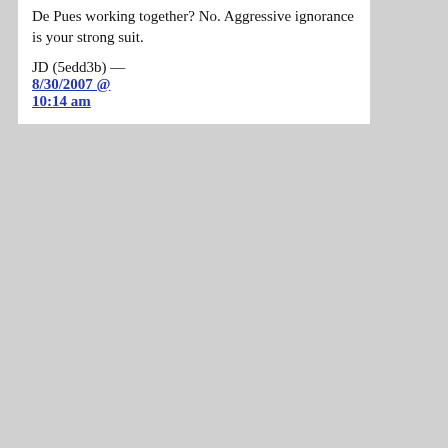De Pues working together? No. Aggressive ignorance is your strong suit.
JD (5edd3b) — 8/30/2007 @ 10:14 am
37. JD, Even Chertoff (De Pue's boss at the time,btw, genius) admits he lied: http://www.washingtonpost.com/wp-dyn/content/article...